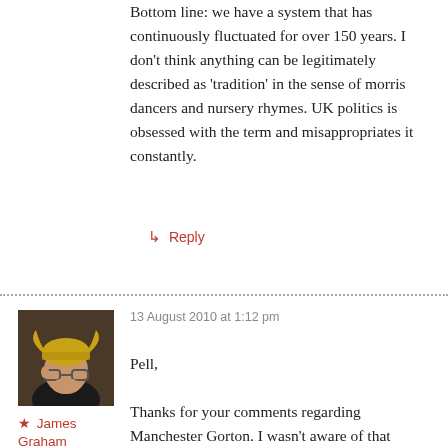Bottom line: we have a system that has continuously fluctuated for over 150 years. I don't think anything can be legitimately described as 'tradition' in the sense of morris dancers and nursery rhymes. UK politics is obsessed with the term and misappropriates it constantly.
↳ Reply
13 August 2010 at 1:12 pm
[Figure (photo): Avatar photo of James Graham wearing a viking helmet]
★ James Graham
Pell,

Thanks for your comments regarding Manchester Gorton. I wasn't aware of that change. It certainly supports my broader point about how inadequate single member